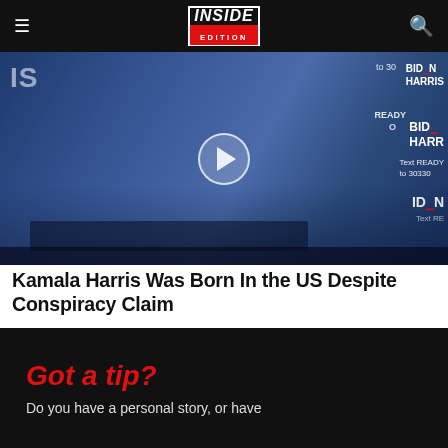Inside Edition — navigation bar with hamburger menu, logo, and search icon
[Figure (screenshot): Video thumbnail showing Kamala Harris seated at a desk in front of Biden-Harris campaign backdrop with a play button overlay]
Kamala Harris Was Born In the US Despite Conspiracy Claim
Got a tip?
Do you have a personal story, or have